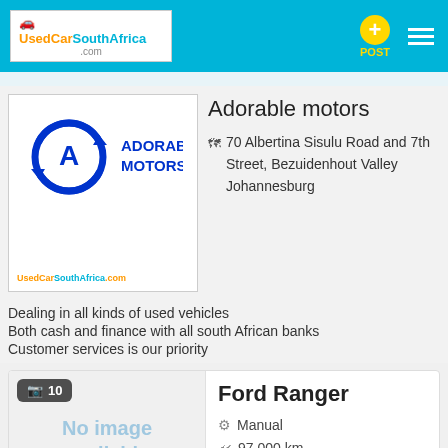UsedCar SouthAfrica .com — POST
[Figure (logo): Adorable Motors dealer logo with circular arrow and 'A' monogram, blue text on white background. UsedCarSouthAfrica.com watermark text at bottom.]
Adorable motors
70 Albertina Sisulu Road and 7th Street, Bezuidenhout Valley Johannesburg
Dealing in all kinds of used vehicles
Both cash and finance with all south African banks
Customer services is our priority
📷 10  Ford Ranger
Manual
97,000 km
2011
Gauteng